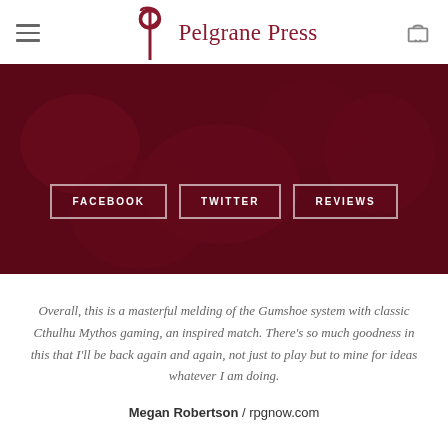Pelgrane Press
[Figure (photo): Dark maroon/crimson banner image with a dimly-lit gaming scene showing people at a table. Three white-outlined buttons read FACEBOOK, TWITTER, REVIEWS.]
Overall, this is a masterful melding of the Gumshoe system with classic Cthulhu Mythos gaming, an inspired match. There’s so much goodness in this that I’ll be back again and again, not just to play but to mine for ideas whatever I am doing.
Megan Robertson / rpgnow.com